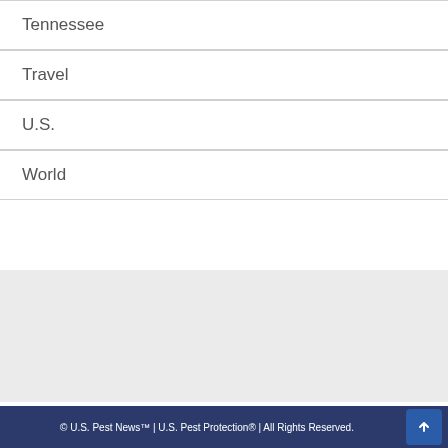Tennessee
Travel
U.S.
World
© U.S. Pest News™ | U.S. Pest Protection® | All Rights Reserved.